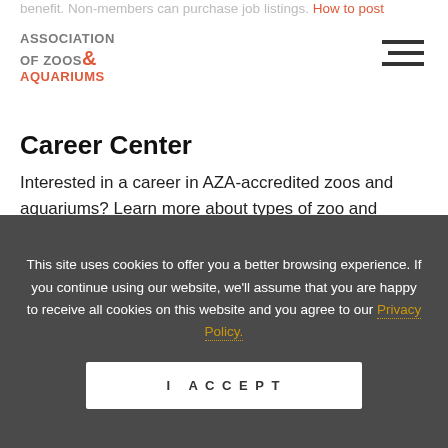benefit. Non-members can purchase job listings. How to post
[Figure (logo): Association of Zoos & Aquariums logo with hamburger menu icon]
Career Center
Interested in a career in AZA-accredited zoos and aquariums? Learn more about types of zoo and
This site uses cookies to offer you a better browsing experience. If you continue using our website, we'll assume that you are happy to receive all cookies on this website and you agree to our Privacy Policy. I ACCEPT